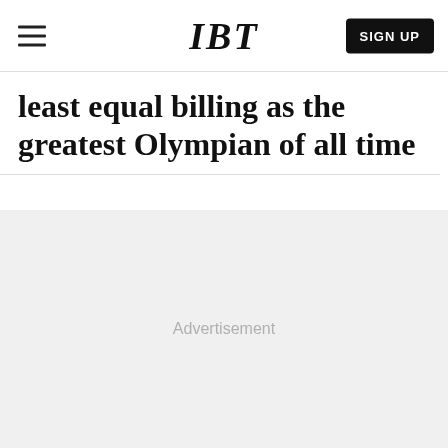IBT
least equal billing as the greatest Olympian of all time
[Figure (other): Advertisement placeholder area with light gray background and 'Advertisement' label text centered]